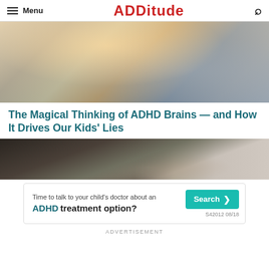Menu | ADDitude
[Figure (photo): Child dressed as superhero with cape raised arm against sky background]
The Magical Thinking of ADHD Brains — and How It Drives Our Kids' Lies
[Figure (photo): Child sitting on stairs with metal railing, viewed from behind]
[Figure (other): Advertisement banner: Time to talk to your child's doctor about an ADHD treatment option? Search button. S42012 08/18]
ADVERTISEMENT